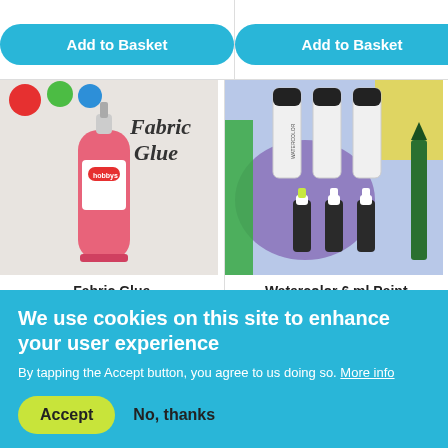[Figure (photo): Add to Basket button (cyan/blue rounded button) for first product column]
[Figure (photo): Add to Basket button (cyan/blue rounded button) for second product column]
[Figure (photo): Photo of Fabric Glue product - pink tube with Hobbys branding and colorful yarn balls in background]
Fabric Glue
[Figure (photo): Photo of Watercolor 6 ml Paint set - tubes and small bottles of watercolor paint]
Watercolor 6 ml Paint
We use cookies on this site to enhance your user experience
By tapping the Accept button, you agree to us doing so. More info
Accept
No, thanks